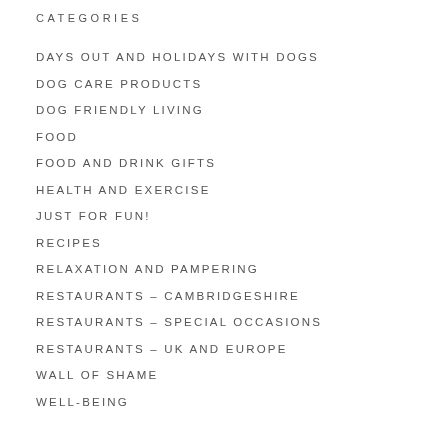CATEGORIES
DAYS OUT AND HOLIDAYS WITH DOGS
DOG CARE PRODUCTS
DOG FRIENDLY LIVING
FOOD
FOOD AND DRINK GIFTS
HEALTH AND EXERCISE
JUST FOR FUN!
RECIPES
RELAXATION AND PAMPERING
RESTAURANTS – CAMBRIDGESHIRE
RESTAURANTS – SPECIAL OCCASIONS
RESTAURANTS – UK AND EUROPE
WALL OF SHAME
WELL-BEING